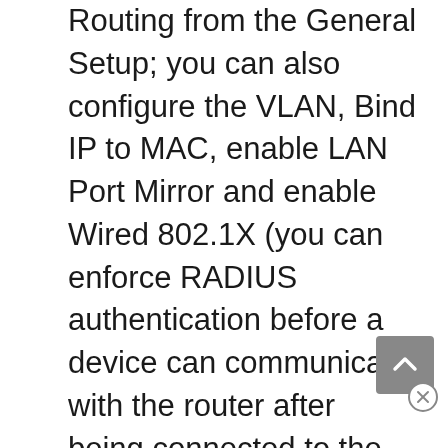Routing from the General Setup; you can also configure the VLAN, Bind IP to MAC, enable LAN Port Mirror and enable Wired 802.1X (you can enforce RADIUS authentication before a device can communicate with the router after being connected to the LAN port). Underneath LAN, there's the Hotspot Web Portal, where you can setup Profiles (which include the Portal Method, Captive Portal URL, choosing the type of Background the users will see, as well as the message and it also includes configuring outbound connections from hosts, HTTPS Redirection, Captive Portal Detection, landing page and more), see the User Information and configure the Quota